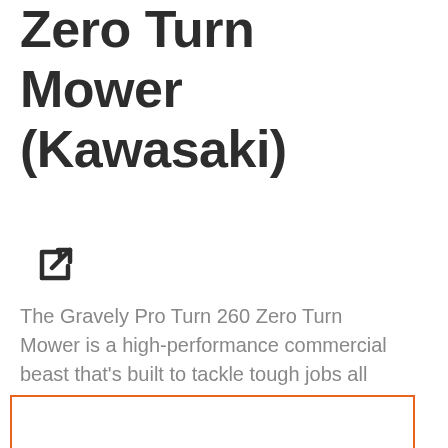Zero Turn Mower (Kawasaki)
[Figure (illustration): External link icon (square with arrow pointing out)]
The Gravely Pro Turn 260 Zero Turn Mower is a high-performance commercial beast that's built to tackle tough jobs all day, every day.
[Figure (other): Orange rounded rectangle button with chat bubble icon and text 'Text us!' inside an orange-bordered box]